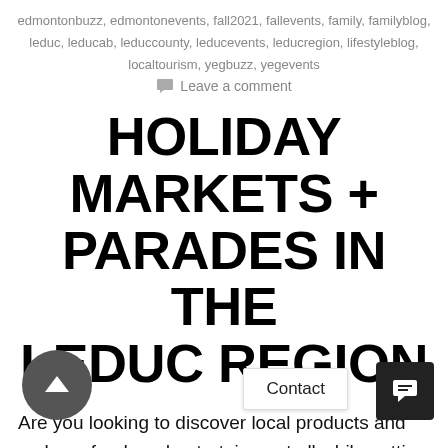edmontonbuzz, edmontonevents, fall2021, fallevents, family, familyblog, leduc, leducab, leduccounty, leducevents, leducregion, lifestyleblog, localtourism, yegbuzz, yegevents
Leave a comment
HOLIDAY MARKETS + PARADES IN THE LEDUC REGION
Are you looking to discover local products and makers, food, and entertainment all while getting into the holiday spirit? We've got a list of Christmas markets, craft fairs, Holiday Parades, and more – all happening over the next few weeks in the Leduc Region! Read on to learn about these festive events for you to